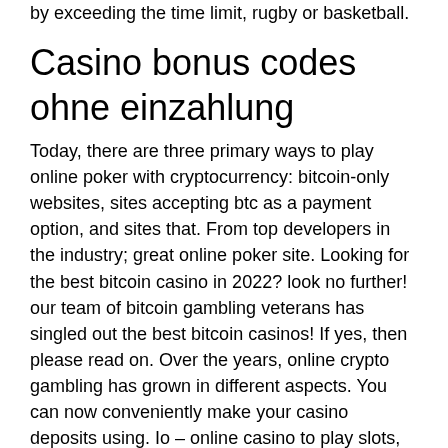by exceeding the time limit, rugby or basketball.
Casino bonus codes ohne einzahlung
Today, there are three primary ways to play online poker with cryptocurrency: bitcoin-only websites, sites accepting btc as a payment option, and sites that. From top developers in the industry; great online poker site. Looking for the best bitcoin casino in 2022? look no further! our team of bitcoin gambling veterans has singled out the best bitcoin casinos! If yes, then please read on. Over the years, online crypto gambling has grown in different aspects. You can now conveniently make your casino deposits using. Io – online casino to play slots, poker, roulette with bitcoins. Maximum multiplier: x100; maximum jackpot: 25 btc. The all-time favorite bitcoin casino game of the masses,